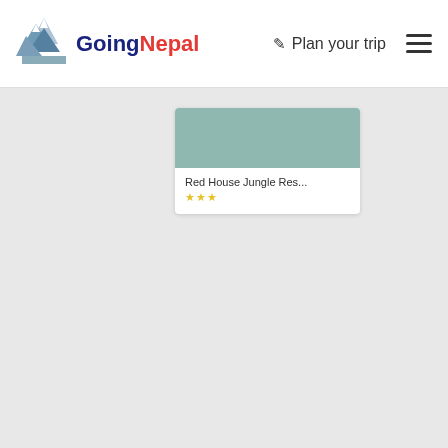[Figure (logo): GoingNepal logo with mountain graphic and text 'Going' in dark blue and 'Nepal' in red]
Plan your trip
[Figure (other): Card showing 'Red House Jungle Res...' with teal header image and yellow star rating]
Red House Jungle Res...
★★★